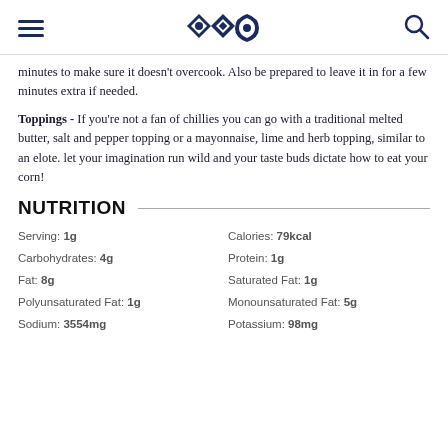[hamburger menu] [logo icons] [search icon]
minutes to make sure it doesn't overcook. Also be prepared to leave it in for a few minutes extra if needed.
Toppings - If you're not a fan of chillies you can go with a traditional melted butter, salt and pepper topping or a mayonnaise, lime and herb topping, similar to an elote. let your imagination run wild and your taste buds dictate how to eat your corn!
NUTRITION
| Label | Value | Label | Value |
| --- | --- | --- | --- |
| Serving: | 1g | Calories: | 79kcal |
| Carbohydrates: | 4g | Protein: | 1g |
| Fat: | 8g | Saturated Fat: | 1g |
| Polyunsaturated Fat: | 1g | Monounsaturated Fat: | 5g |
| Sodium: | 3554mg | Potassium: | 98mg |